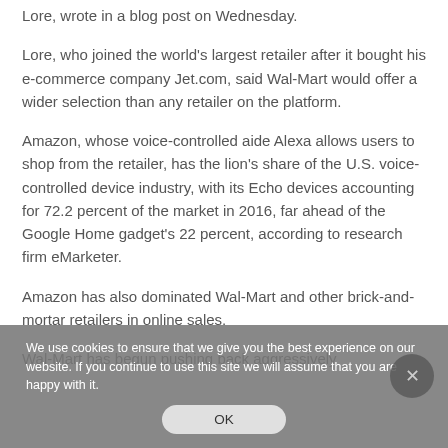Lore, wrote in a blog post on Wednesday.
Lore, who joined the world's largest retailer after it bought his e-commerce company Jet.com, said Wal-Mart would offer a wider selection than any retailer on the platform.
Amazon, whose voice-controlled aide Alexa allows users to shop from the retailer, has the lion's share of the U.S. voice-controlled device industry, with its Echo devices accounting for 72.2 percent of the market in 2016, far ahead of the Google Home gadget's 22 percent, according to research firm eMarketer.
Amazon has also dominated Wal-Mart and other brick-and-mortar retailers in online sales.
Wal-Mart has begun pushing back aggressively
We use cookies to ensure that we give you the best experience on our website. If you continue to use this site we will assume that you are happy with it.
OK